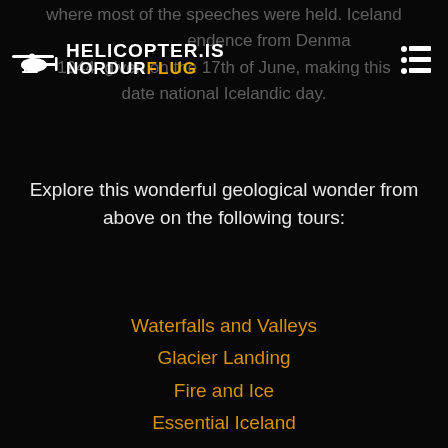where most of the speeches were held. Iceland ... independence from Denmark 1944 ... given on the 17th of June, making this date national Icelandic day.
[Figure (logo): Helicopter.is Nordurflug logo with helicopter silhouette icon, white text HELICOPTER.IS and NORDUR in white with FLUG in gold/yellow]
Explore this wonderful geological wonder from above on the following tours:
Waterfalls and Valleys
Glacier Landing
Fire and Ice
Essential Iceland